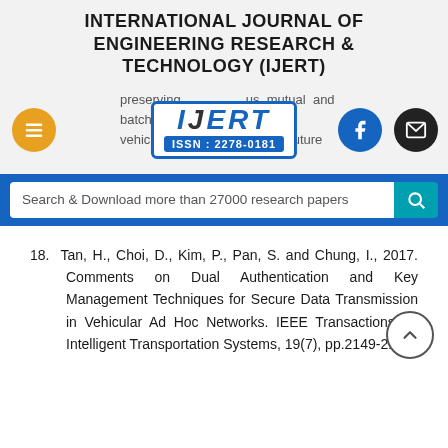INTERNATIONAL JOURNAL OF ENGINEERING RESEARCH & TECHNOLOGY (IJERT)
[Figure (logo): IJERT logo with ISSN: 2278-0181, surrounded by menu, Facebook, and email buttons, with partial background text about preserving anonymous mutual and batch authentication schemes for vehicular networks.]
Search & Download more than 27000 research papers
18. Tan, H., Choi, D., Kim, P., Pan, S. and Chung, I., 2017. Comments on Dual Authentication and Key Management Techniques for Secure Data Transmission in Vehicular Ad Hoc Networks. IEEE Transactions on Intelligent Transportation Systems, 19(7), pp.2149-2151.